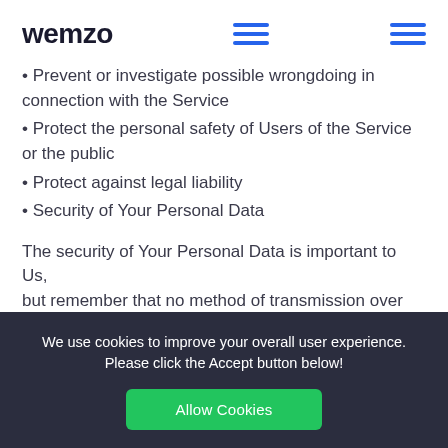wemzo
• Prevent or investigate possible wrongdoing in connection with the Service
• Protect the personal safety of Users of the Service or the public
• Protect against legal liability
• Security of Your Personal Data
The security of Your Personal Data is important to Us, but remember that no method of transmission over the
We use cookies to improve your overall user experience. Please click the Accept button below!